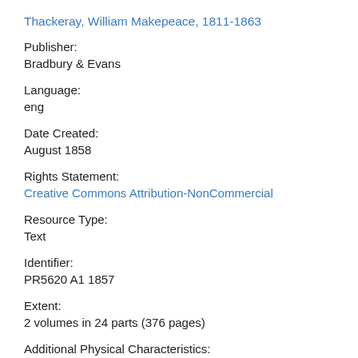Thackeray, William Makepeace, 1811-1863
Publisher:
Bradbury & Evans
Language:
eng
Date Created:
August 1858
Rights Statement:
Creative Commons Attribution-NonCommercial
Resource Type:
Text
Identifier:
PR5620 A1 1857
Extent:
2 volumes in 24 parts (376 pages)
Additional Physical Characteristics:
illustrations
Physical Repository: